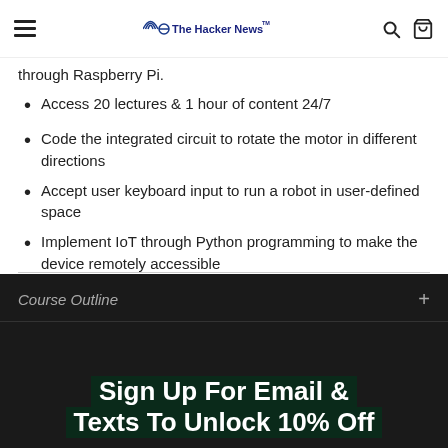The Hacker News
through Raspberry Pi.
Access 20 lectures & 1 hour of content 24/7
Code the integrated circuit to rotate the motor in different directions
Accept user keyboard input to run a robot in user-defined space
Implement IoT through Python programming to make the device remotely accessible
Course Outline
Sign Up For Email & Texts To Unlock 10% Off